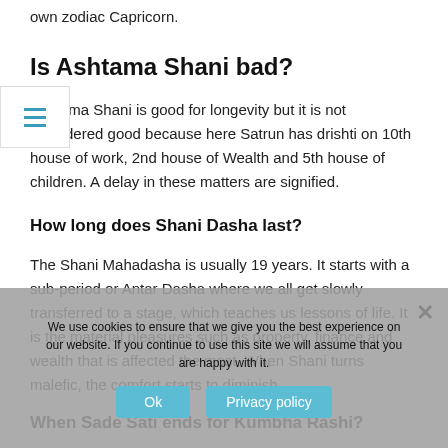own zodiac Capricorn.
Is Ashtama Shani bad?
Ashtama Shani is good for longevity but it is not considered good because here Satrun has drishti on 10th house of work, 2nd house of Wealth and 5th house of children. A delay in these matters are signified.
How long does Shani Dasha last?
The Shani Mahadasha is usually 19 years. It starts with a sub-period or Antar Dasha where we all get slowly transferred to a stage, which teaches us lessons of life. It is the material pleasures such as property, finance and wealth that is affected the most. When Shani turns malefic, the comfort starts to diminish.
When Sade Sati ends for Kumbha Rashi?